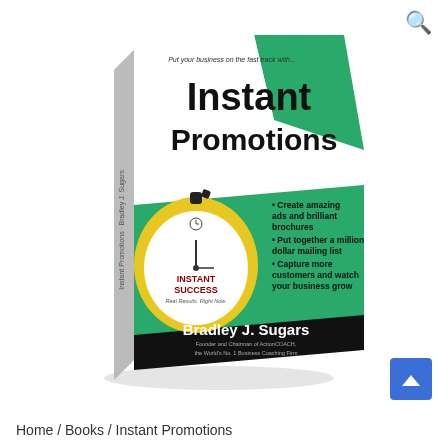[Figure (photo): 3D book cover of 'Instant Promotions' by Bradley J. Sugars. The book cover features a green and white design with a large yellow stopwatch. The title reads 'Instant Promotions' in bold black text. A tagline at the top reads 'Put your business on the fast track with...' An Instant Success badge is on the stopwatch. Bullet points on the green section read: Create amazing ads and brilliant brochures; Put together a million dollar mailing list; Capture more customers and watch your business grow. The black bottom band shows 'Bradley J. Sugars, Founder and Chairman of ActionCOACH, the World's No. 1 Business Coaching Firm'.]
Home / Books / Instant Promotions